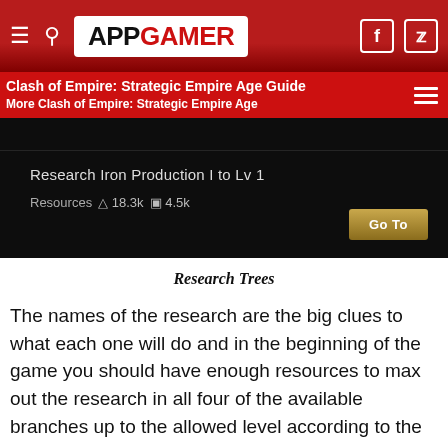APPGAMER
Clash of Empire: Strategic Empire Age Guide
More Clash of Empire: Strategic Empire Age
[Figure (screenshot): In-game screenshot showing 'Research Iron Production I to Lv 1' with resource costs (18.3k, 4.5k) and a gold 'Go To' button on dark background.]
Research Trees
The names of the research are the big clues to what each one will do and in the beginning of the game you should have enough resources to max out the research in all four of the available branches up to the allowed level according to the level of your university. Research is fast at the early levels, although you can still ask for